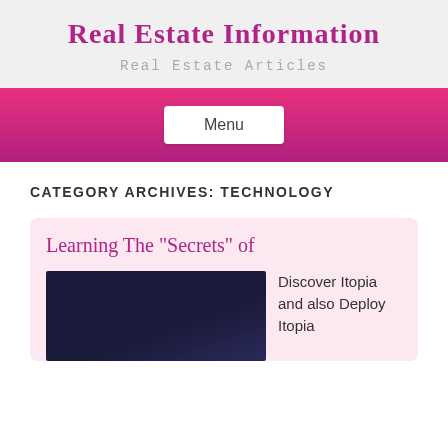Real Estate Information
Real Estate Articles
Menu
CATEGORY ARCHIVES: TECHNOLOGY
Learning The "Secrets" of
[Figure (photo): Dark blue abstract photo used as article thumbnail]
Discover Itopia and also Deploy Itopia